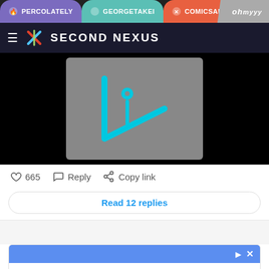PERCOLATELY  GEORGETAKEI  COMICSANDS  ohmyyy
SECOND NEXUS
[Figure (screenshot): Video thumbnail with cyan play/info icon on grey background, black surround]
665  Reply  Copy link
Read 12 replies
[Figure (screenshot): Petco advertisement: Your Pet's Summer Gear Is Here - Petco]